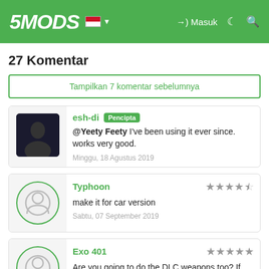5MODS | Masuk
27 Komentar
Tampilkan 7 komentar sebelumnya
esh-di Pencipta
@Yeety Feety I've been using it ever since. works very good.
Minggu, 18 Agustus 2019
Typhoon ★★★★½
make it for car version
Sabtu, 07 September 2019
Exo 401 ★★★★★
Are you going to do the DLC weapons too? If not can you tell me the line you have to edit so I can do it myself?
Kamis, 19 September 2019